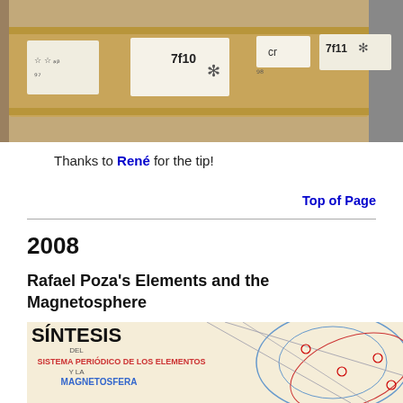[Figure (photo): Photo of labeled film reels or canisters showing labels with '7f10', '7f11', and snowflake symbols on a beige/tan surface]
Thanks to René for the tip!
Top of Page
2008
Rafael Poza's Elements and the Magnetosphere
[Figure (illustration): Cover image of a book titled 'SÍNTESIS DEL SISTEMA PERIÓDICO DE LOS ELEMENTOS Y LA MAGNETOSFERA' with decorative circular diagram and orbital lines on beige background]